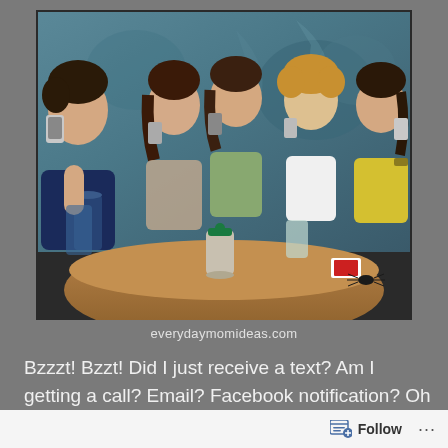[Figure (photo): Group of five young people (one male, four females) sitting around a round table at a restaurant/bar, all talking on mobile phones simultaneously. There are drinks and a deck of cards on the table. The background shows a decorative painted wall.]
everydaymomideas.com
Bzzzt! Bzzt! Did I just receive a text? Am I getting a call? Email? Facebook notification? Oh wait, I guess it was